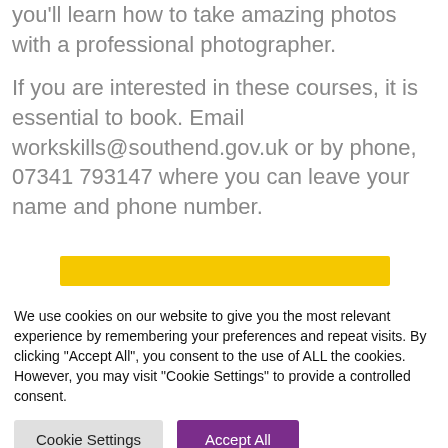you'll learn how to take amazing photos with a professional photographer.
If you are interested in these courses, it is essential to book. Email workskills@southend.gov.uk or by phone, 07341 793147 where you can leave your name and phone number.
[Figure (other): Yellow horizontal bar/banner element]
We use cookies on our website to give you the most relevant experience by remembering your preferences and repeat visits. By clicking "Accept All", you consent to the use of ALL the cookies. However, you may visit "Cookie Settings" to provide a controlled consent.
Cookie Settings | Accept All